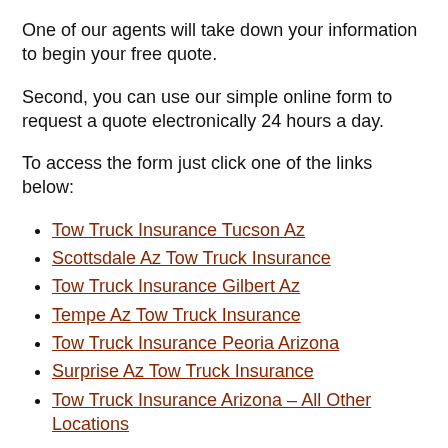One of our agents will take down your information to begin your free quote.
Second, you can use our simple online form to request a quote electronically 24 hours a day.
To access the form just click one of the links below:
Tow Truck Insurance Tucson Az
Scottsdale Az Tow Truck Insurance
Tow Truck Insurance Gilbert Az
Tempe Az Tow Truck Insurance
Tow Truck Insurance Peoria Arizona
Surprise Az Tow Truck Insurance
Tow Truck Insurance Arizona – All Other Locations